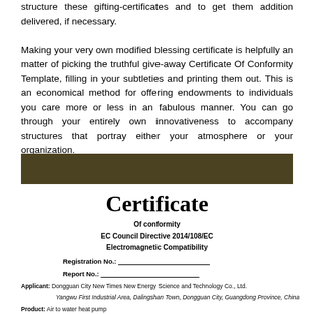structure these gifting-certificates and to get them addition delivered, if necessary.
Making your very own modified blessing certificate is helpfully an matter of picking the truthful give-away Certificate Of Conformity Template, filling in your subtleties and printing them out. This is an economical method for offering endowments to individuals you care more or less in an fabulous manner. You can go through your entirely own innovativeness to accompany structures that portray either your atmosphere or your organization.
[Figure (other): Dark olive/brown horizontal decorative bar]
Certificate
Of conformity
EC Council Directive 2014/108/EC
Electromagnetic Compatibility
Registration No.: ____________________
Report No.: ______________________
Applicant: Dongguan City New Times New Energy Science and Technology Co., Ltd.
Yangwu First Industrial Area, Dalingshan Town, Dongguan City, Guangdong Province, China
Product: Air to water heat pump